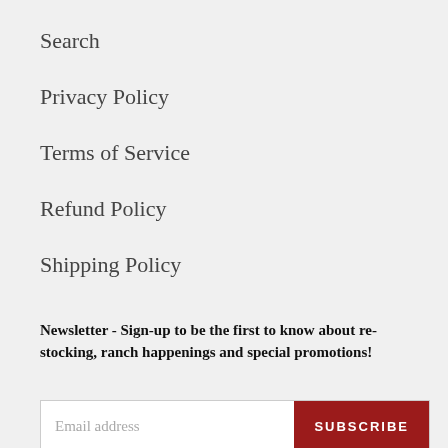Search
Privacy Policy
Terms of Service
Refund Policy
Shipping Policy
Newsletter - Sign-up to be the first to know about re-stocking, ranch happenings and special promotions!